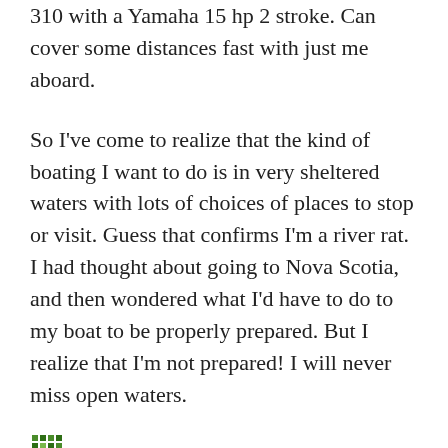310 with a Yamaha 15 hp 2 stroke.  Can cover some distances fast with just me aboard.
So I've come to realize that the kind of boating I want to do is in very sheltered waters with lots of choices of places to stop or visit.  Guess that confirms I'm a river rat.  I had thought about going to Nova Scotia, and then wondered what I'd have to do to my boat to be properly prepared.  But I realize that I'm not prepared!  I will never miss open waters.
Jeff / June 28, 2017 / Uncategorized / Leave a comment
Spectacular lightning